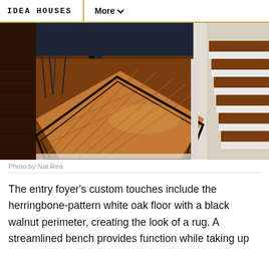IDEA HOUSES   More
[Figure (photo): Interior photo of an entry foyer showing a herringbone-pattern white oak hardwood floor with a dark walnut perimeter border creating a rug-like look, white stair case with dark wood treads on the right, and a metal console table with boots and plants in the background.]
Photo by Nat Rea
The entry foyer’s custom touches include the herringbone-pattern white oak floor with a black walnut perimeter, creating the look of a rug. A streamlined bench provides function while taking up